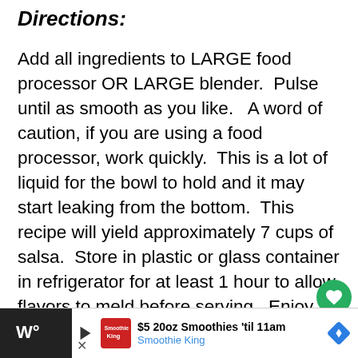Directions:
Add all ingredients to LARGE food processor OR LARGE blender.  Pulse until as smooth as you like.   A word of caution, if you are using a food processor, work quickly.  This is a lot of liquid for the bowl to hold and it may start leaking from the bottom.  This recipe will yield approximately 7 cups of salsa.  Store in plastic or glass container in refrigerator for at least 1 hour to allow flavors to meld before serving.  Enjoy with chips! ( Chips not included in nutrition information above)
$5 20oz Smoothies 'til 11am  Smoothie King